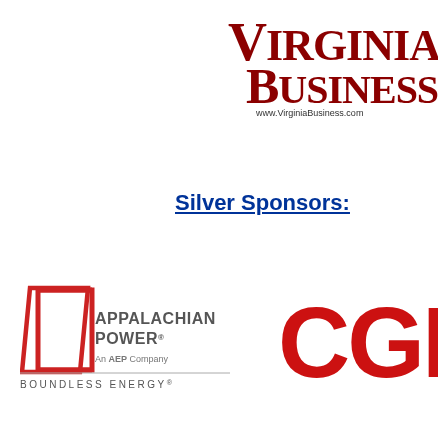[Figure (logo): Virginia Business magazine logo with dark red serif text 'VIRGINIA BUSINESS' and tagline 'www.VirginiaBusiness.com']
Silver Sponsors:
[Figure (logo): Appalachian Power logo with red geometric parallelogram shape, gray text 'APPALACHIAN POWER', subtitle 'An AEP Company', and tagline 'BOUNDLESS ENERGY']
[Figure (logo): CGI logo in large bold red letters]